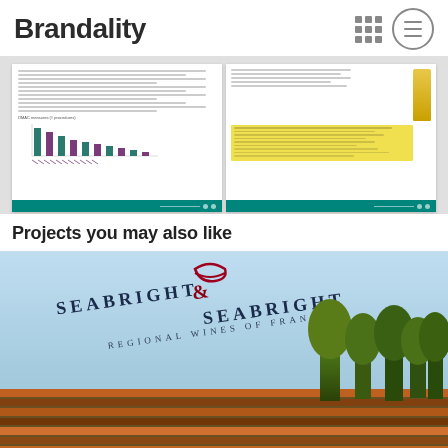Brandality
[Figure (screenshot): Two document pages side by side on a grey background. Left page shows text lines and a small bar chart with teal and purple bars. Right page shows a yellow product bottle image and a yellow highlighted text box. Both pages have a teal footer bar.]
Projects you may also like
[Figure (photo): A branded folder or document cover for Seabright & Seabright Regional Wines of France, showing a vineyard landscape with rows of autumn-coloured vines and trees against a blue sky.]